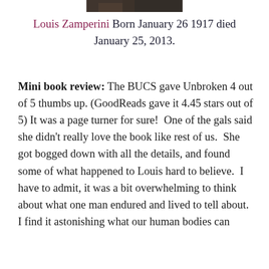[Figure (photo): Partial photo of a person at the top of the page, cropped]
Louis Zamperini Born January 26 1917 died January 25, 2013.
Mini book review: The BUCS gave Unbroken 4 out of 5 thumbs up. (GoodReads gave it 4.45 stars out of 5) It was a page turner for sure!  One of the gals said she didn't really love the book like rest of us.  She got bogged down with all the details, and found some of what happened to Louis hard to believe.  I have to admit, it was a bit overwhelming to think about what one man endured and lived to tell about.  I find it astonishing what our human bodies can